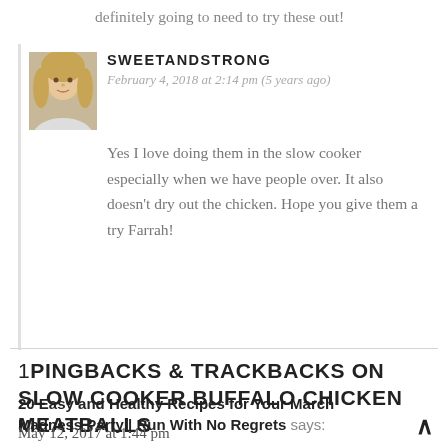definitely going to need to try these out!
SWEETANDSTRONG
February 4, 2018 at 2:14 pm (5 years ago)
Yes I love doing them in the slow cooker especially when we have people over. It also doesn't dry out the chicken. Hope you give them a try Farrah!
1PINGBACKS & TRACKBACKS ON SLOW COOKER BUFFALO CHICKEN MEATBALLS
20 Easy and Healthy Recipes for Your March Madness Party | Run With No Regrets says:
May 12, 2017 at 1:44 pm